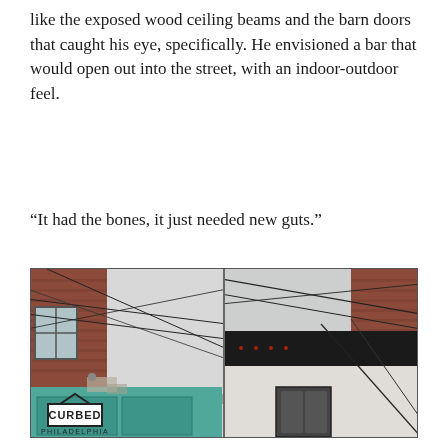like the exposed wood ceiling beams and the barn doors that caught his eye, specifically. He envisioned a bar that would open out into the street, with an indoor-outdoor feel.
“It had the bones, it just needed new guts.”
[Figure (photo): Two side-by-side photographs showing the exterior of a building before and after renovation. The left photo shows a brick building with peeling teal/turquoise painted storefront and worn facade. The right photo shows the same or similar building after renovation with a dark modern storefront. Utility wires cross overhead in both photos.]
[Figure (logo): Curbed Philadelphia logo — the word CURBED in a box with a small house/roof shape on top, and PHILADELPHIA printed below in small caps.]